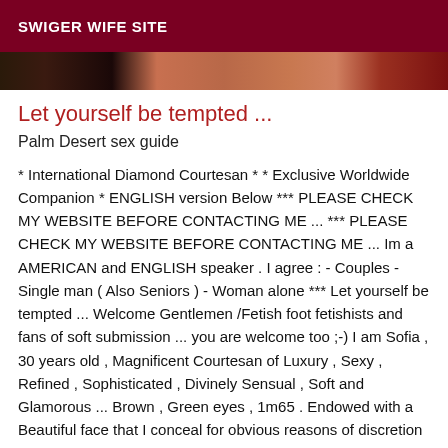SWIGER WIFE SITE
[Figure (photo): Partial photo strip showing blurred/cropped images of people, dark and reddish tones]
Let yourself be tempted ...
Palm Desert sex guide
* International Diamond Courtesan * * Exclusive Worldwide Companion * ENGLISH version Below *** PLEASE CHECK MY WEBSITE BEFORE CONTACTING ME ... *** PLEASE CHECK MY WEBSITE BEFORE CONTACTING ME ... Im a AMERICAN and ENGLISH speaker . I agree : - Couples - Single man ( Also Seniors ) - Woman alone *** Let yourself be tempted ... Welcome Gentlemen /Fetish foot fetishists and fans of soft submission ... you are welcome too ;-) I am Sofia , 30 years old , Magnificent Courtesan of Luxury , Sexy , Refined , Sophisticated , Divinely Sensual , Soft and Glamorous ... Brown , Green eyes , 1m65 . Endowed with a Beautiful face that I conceal for obvious reasons of discretion ... My